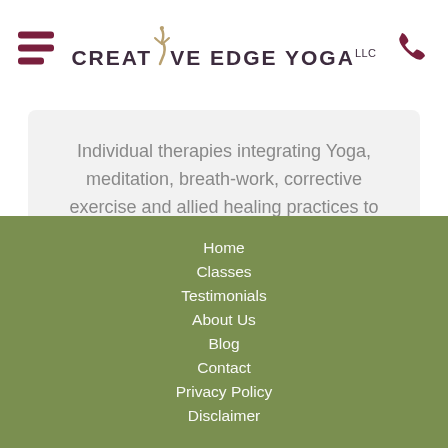CREATIVE EDGE YOGA LLC
Individual therapies integrating Yoga, meditation, breath-work, corrective exercise and allied healing practices to target your specific health and wellness goals.
Home
Classes
Testimonials
About Us
Blog
Contact
Privacy Policy
Disclaimer